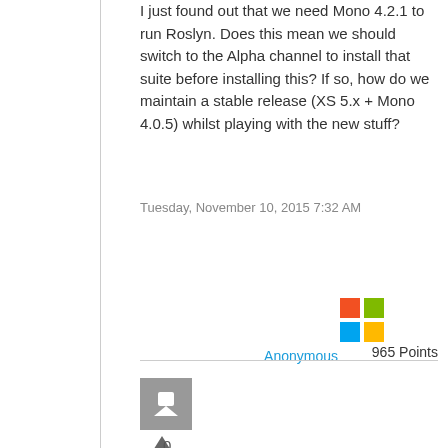I just found out that we need Mono 4.2.1 to run Roslyn. Does this mean we should switch to the Alpha channel to install that suite before installing this? If so, how do we maintain a stable release (XS 5.x + Mono 4.0.5) whilst playing with the new stuff?
Tuesday, November 10, 2015 7:32 AM
[Figure (logo): Microsoft Windows logo (4-color grid of squares: red, green, blue, orange)]
Anonymous
965 Points
[Figure (other): Gray avatar placeholder box with a chat/comment icon]
[Figure (other): Upvote triangle arrow]
0